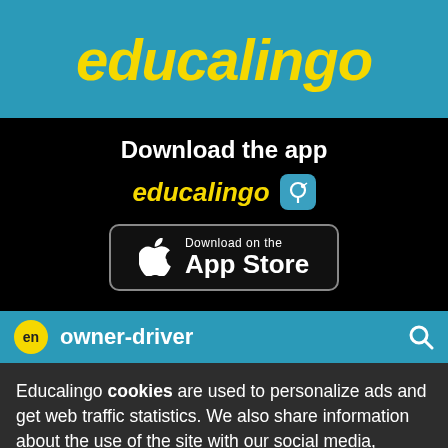educalingo
Download the app
educalingo
[Figure (logo): Download on the App Store button with Apple logo]
en owner-driver
Educalingo cookies are used to personalize ads and get web traffic statistics. We also share information about the use of the site with our social media, advertising and analytics partners.
View details
Got it